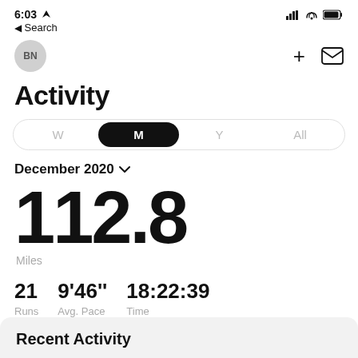6:03  Search  [status icons]
BN  +  [mail icon]
Activity
W  M  Y  All
December 2020 ∨
112.8
Miles
21  Runs    9'46''  Avg. Pace    18:22:39  Time
Recent Activity